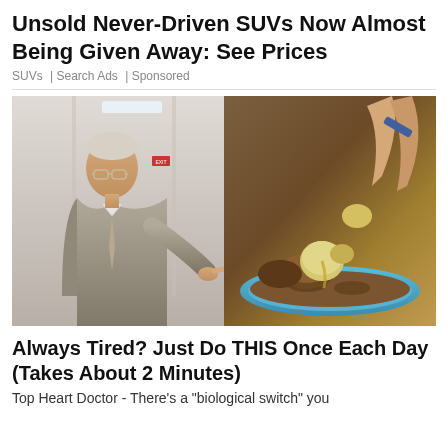Unsold Never-Driven SUVs Now Almost Being Given Away: See Prices
SUVs | Search Ads | Sponsored
[Figure (photo): Split image: left side shows an elderly man in a suit pointing at something; right side shows hands handling food items over a bowl of soil or mixture]
Always Tired? Just Do THIS Once Each Day (Takes About 2 Minutes)
Top Heart Doctor - There's a "biological switch" you